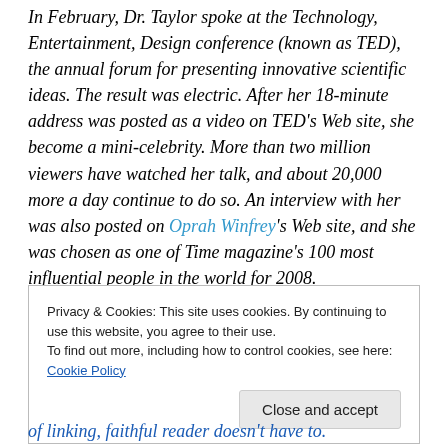In February, Dr. Taylor spoke at the Technology, Entertainment, Design conference (known as TED), the annual forum for presenting innovative scientific ideas. The result was electric. After her 18-minute address was posted as a video on TED's Web site, she become a mini-celebrity. More than two million viewers have watched her talk, and about 20,000 more a day continue to do so. An interview with her was also posted on Oprah Winfrey's Web site, and she was chosen as one of Time magazine's 100 most influential people in the world for 2008.
Privacy & Cookies: This site uses cookies. By continuing to use this website, you agree to their use.
To find out more, including how to control cookies, see here: Cookie Policy
Close and accept
of linking, faithful reader doesn't have to.